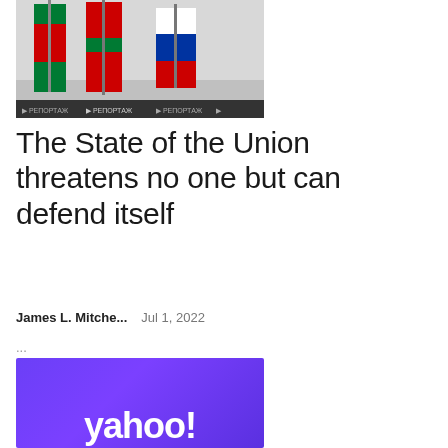[Figure (photo): Photograph of flags of Belarus and Russia displayed together on stands in an indoor setting]
The State of the Union threatens no one but can defend itself
James L. Mitche...    Jul 1, 2022
...
[Figure (logo): Yahoo logo in white on purple/violet gradient background]